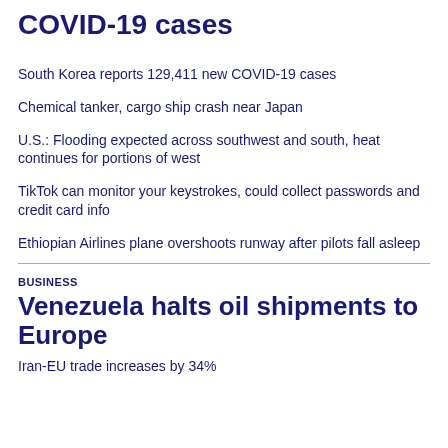COVID-19 cases
South Korea reports 129,411 new COVID-19 cases
Chemical tanker, cargo ship crash near Japan
U.S.: Flooding expected across southwest and south, heat continues for portions of west
TikTok can monitor your keystrokes, could collect passwords and credit card info
Ethiopian Airlines plane overshoots runway after pilots fall asleep
BUSINESS
Venezuela halts oil shipments to Europe
Iran-EU trade increases by 34%